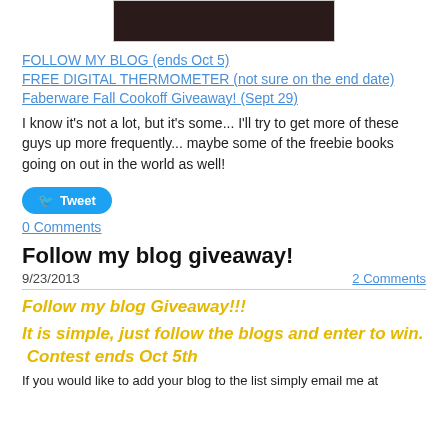[Figure (photo): Dark photo at top of blog post]
FOLLOW MY BLOG (ends Oct 5)
FREE DIGITAL THERMOMETER (not sure on the end date)
Faberware Fall Cookoff Giveaway! (Sept 29)
I know it's not a lot, but it's some... I'll try to get more of these guys up more frequently... maybe some of the freebie books going on out in the world as well!
Tweet
0 Comments
Follow my blog giveaway!
9/23/2013
2 Comments
Follow my blog Giveaway!!!
It is simple, just follow the blogs and enter to win. Contest ends Oct 5th
If you would like to add your blog to the list simply email me at